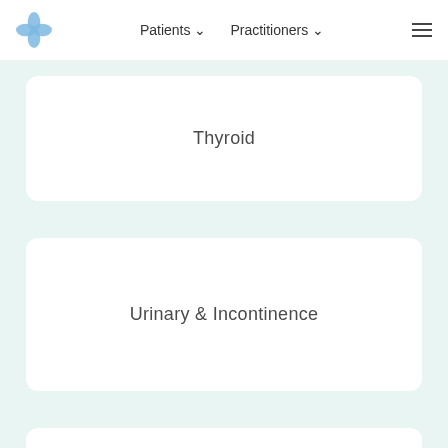Patients  Practitioners
Thyroid
Urinary & Incontinence
Allergy Relief